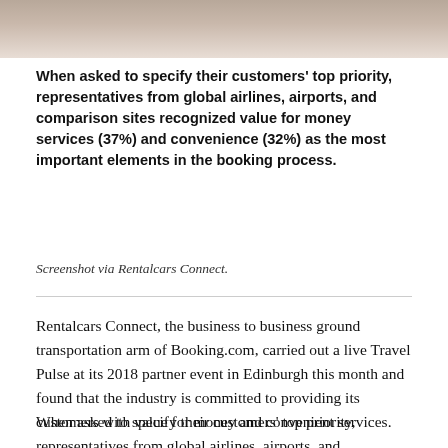[Figure (photo): Partial photo at top of page, showing a blurred background scene]
When asked to specify their customers' top priority, representatives from global airlines, airports, and comparison sites recognized value for money services (37%) and convenience (32%) as the most important elements in the booking process.
Screenshot via Rentalcars Connect.
Rentalcars Connect, the business to business ground transportation arm of Booking.com, carried out a live Travel Pulse at its 2018 partner event in Edinburgh this month and found that the industry is committed to providing its customers with value for money and convenient services.
When asked to specify their customers' top priority, representatives from global airlines, airports, and